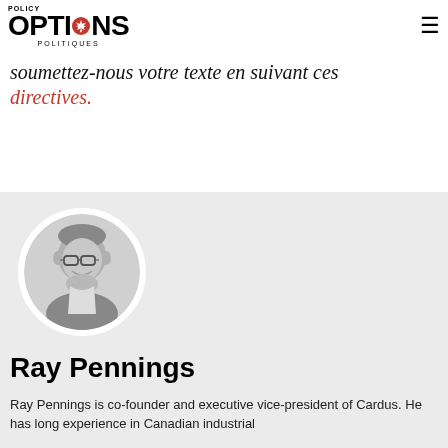POLICY OPTIONS POLITIQUES
soumettez-nous votre texte en suivant ces directives.
[Figure (photo): Circular black-and-white headshot of Ray Pennings, a middle-aged man wearing glasses and smiling]
Ray Pennings
Ray Pennings is co-founder and executive vice-president of Cardus. He has long experience in Canadian industrial